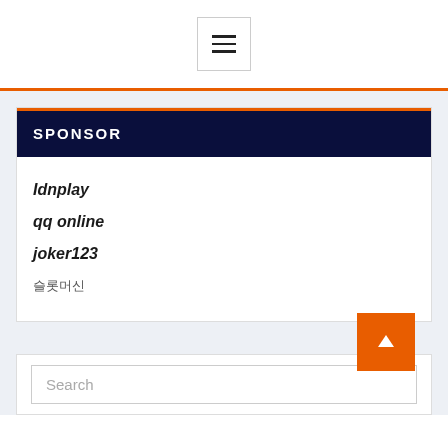[Figure (other): Hamburger menu button with three horizontal lines inside a bordered square button]
SPONSOR
Idnplay
qq online
joker123
슬롯머신
Search